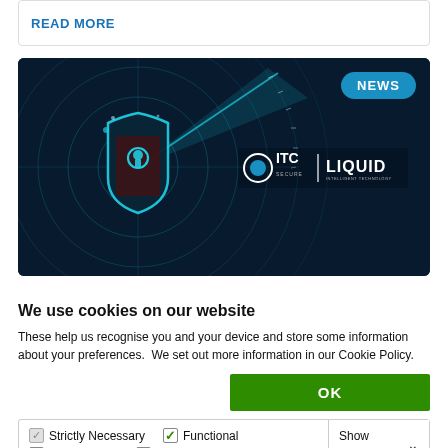READ MORE
[Figure (illustration): Cybersecurity themed image with a glowing digital shield on a radar/dark blue background, with ITC Secure | LIQUID logo overlay and a NEWS badge in the top right corner.]
We use cookies on our website
These help us recognise you and your device and store some information about your preferences.  We set out more information in our Cookie Policy.
OK
Strictly Necessary  Functional  Performance  Targeting  Show details